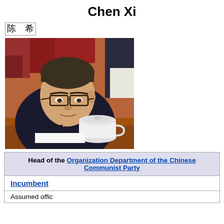Chen Xi
陈希
[Figure (photo): Photo of Chen Xi, a man in a dark suit with glasses and a blue tie, writing with a pen at what appears to be a formal meeting or conference. A white tea cup is visible in the foreground.]
| Head of the Organization Department of the Chinese Communist Party |
| Incumbent |
| Assumed office |